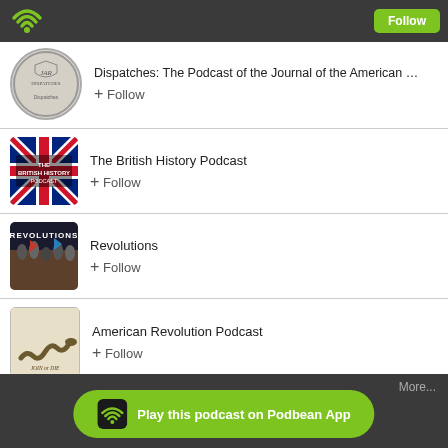[Figure (screenshot): Green WiFi/Podbean icon in dark top bar]
Follow
Dispatches: The Podcast of the Journal of the American …
+ Follow
[Figure (illustration): JAR Dispatches circular podcast logo]
The British History Podcast
+ Follow
[Figure (illustration): The British History Podcast cover with Union Jack flag]
Revolutions
+ Follow
[Figure (illustration): Revolutions podcast cover art]
American Revolution Podcast
+ Follow
[Figure (illustration): American Revolution Podcast cover with Join or Die snake]
More...
Play this podcast on Podbean App